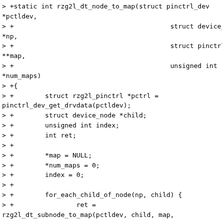> +static int rzg2l_dt_node_to_map(struct pinctrl_dev *pctldev,
> +                                        struct device_node *np,
> +                                        struct pinctrl_map **map,
> +                                        unsigned int *num_maps)
> +{
> +        struct rzg2l_pinctrl *pctrl = pinctrl_dev_get_drvdata(pctldev);
> +        struct device_node *child;
> +        unsigned int index;
> +        int ret;
> +
> +        *map = NULL;
> +        *num_maps = 0;
> +        index = 0;
> +
> +        for_each_child_of_node(np, child) {
> +                ret =
rzg2l_dt_subnode_to_map(pctldev, child, map,
> +
num_maps, &index);
> +                if (ret < 0) {
> +                        of_node_put(child);
> +                        goto done;
> +                }
> +        }
> +